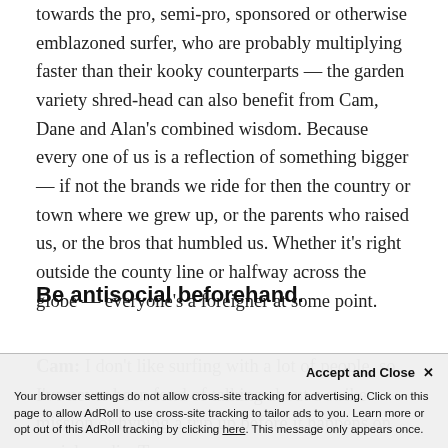towards the pro, semi-pro, sponsored or otherwise emblazoned surfer, who are probably multiplying faster than their kooky counterparts — the garden variety shred-head can also benefit from Cam, Dane and Alan's combined wisdom. Because every one of us is a reflection of something bigger — if not the brands we ride for then the country or town where we grew up, or the parents who raised us, or the bros that humbled us. Whether it's right outside the county line or halfway across the globe — everyone's a foreigner at some point.
Be antisocial beforehand.
Cam: I don't like surfing with a lot of people, so I've never been fond of talking about a strike mission or hyping a trip up before it happens on social media. T... wherever about a swell coming on ar...
Accept and Close ✕
Your browser settings do not allow cross-site tracking for advertising. Click on this page to allow AdRoll to use cross-site tracking to tailor ads to you. Learn more or opt out of this AdRoll tracking by clicking here. This message only appears once.